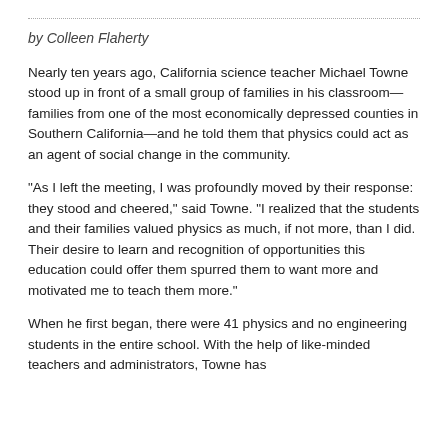by Colleen Flaherty
Nearly ten years ago, California science teacher Michael Towne stood up in front of a small group of families in his classroom—families from one of the most economically depressed counties in Southern California—and he told them that physics could act as an agent of social change in the community.
“As I left the meeting, I was profoundly moved by their response: they stood and cheered,” said Towne. “I realized that the students and their families valued physics as much, if not more, than I did. Their desire to learn and recognition of opportunities this education could offer them spurred them to want more and motivated me to teach them more.”
When he first began, there were 41 physics and no engineering students in the entire school. With the help of like-minded teachers and administrators, Towne has